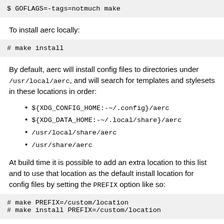$ GOFLAGS=-tags=notmuch make
To install aerc locally:
# make install
By default, aerc will install config files to directories under /usr/local/aerc, and will search for templates and stylesets in these locations in order:
${XDG_CONFIG_HOME:-~/.config}/aerc
${XDG_DATA_HOME:-~/.local/share}/aerc
/usr/local/share/aerc
/usr/share/aerc
At build time it is possible to add an extra location to this list and to use that location as the default install location for config files by setting the PREFIX option like so:
# make PREFIX=/custom/location
# make install PREFIX=/custom/location